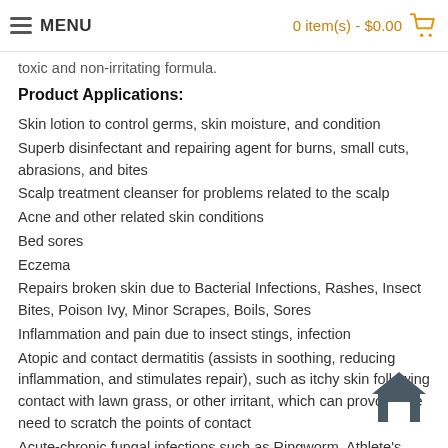MENU   0 item(s) - $0.00
toxic and non-irritating formula.
Product Applications:
Skin lotion to control germs, skin moisture, and condition
Superb disinfectant and repairing agent for burns, small cuts, abrasions, and bites
Scalp treatment cleanser for problems related to the scalp
Acne and other related skin conditions
Bed sores
Eczema
Repairs broken skin due to Bacterial Infections, Rashes, Insect Bites, Poison Ivy, Minor Scrapes, Boils, Sores
Inflammation and pain due to insect stings, infection
Atopic and contact dermatitis (assists in soothing, reducing inflammation, and stimulates repair), such as itchy skin following contact with lawn grass, or other irritant, which can provoke the need to scratch the points of contact
Acute-chronic fungal infections such as Ringworm, Athlete's Foot, Jock Itch
Fingernail and toenail fungus
Idiopathic dermatology problems -- Generalized pruritis (itching)